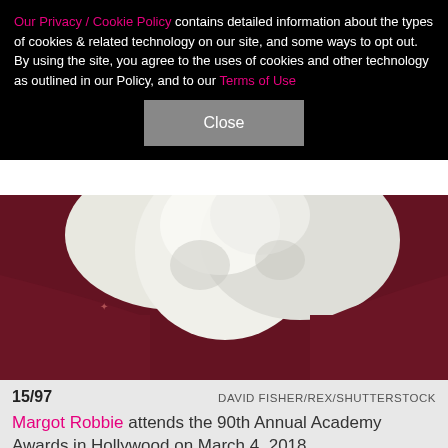Our Privacy / Cookie Policy contains detailed information about the types of cookies & related technology on our site, and some ways to opt out. By using the site, you agree to the uses of cookies and other technology as outlined in our Policy, and to our Terms of Use
[Figure (photo): Close-up photo of a white dress hem/train on a dark red/maroon carpet at a red carpet event]
15/97  DAVID FISHER/REX/SHUTTERSTOCK  Margot Robbie attends the 90th Annual Academy Awards in Hollywood on March 4, 2018.